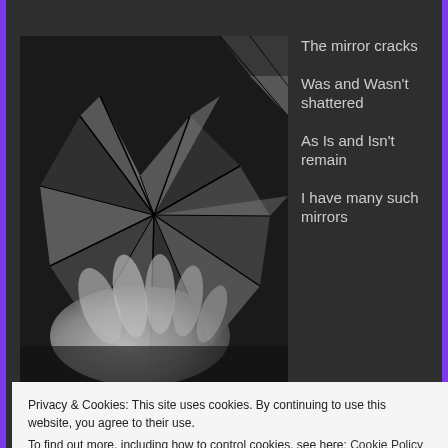[Figure (photo): Black and white photograph of hands touching a shattered mirror with sharp broken glass fragments radiating outward from a central point]
The mirror cracks

Was and Wasn't shattered

As Is and Isn't remain

I have many such mirrors
Privacy & Cookies: This site uses cookies. By continuing to use this website, you agree to their use.
To find out more, including how to control cookies, see here: Cookie Policy
Close and accept
Within my house of me